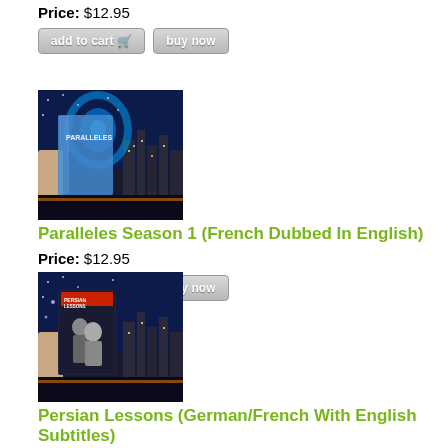Price: $12.95
[Figure (other): Add to cart and buy now buttons]
[Figure (photo): Paralleles Season 1 DVD cover showing a hand holding a DVD case with a blue cosmic/city scene]
Paralleles Season 1 (French Dubbed In English)
Price: $12.95
[Figure (other): Add to cart and buy now buttons]
[Figure (photo): Persian Lessons DVD cover showing two men, one younger and one older, with Persian Lessons text]
Persian Lessons (German/French With English Subtitles)
Price: $7.50
[Figure (other): Add to cart and buy now buttons]